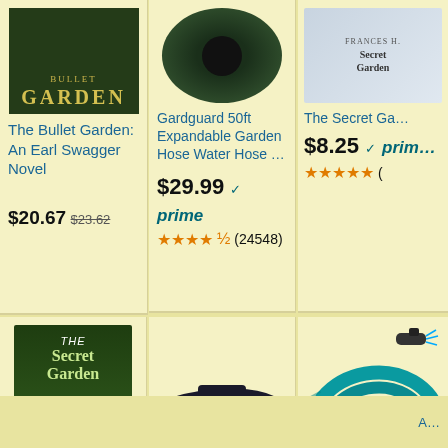[Figure (photo): Book cover for The Bullet Garden: An Earl Swagger Novel on dark green background]
The Bullet Garden: An Earl Swagger Novel
$20.67  $23.62
[Figure (photo): Gardguard 50ft Expandable Garden Hose Water Hose - dark green coiled hose]
Gardguard 50ft Expandable Garden Hose Water Hose …
$29.99  prime  ★★★★☆ (24548)
[Figure (photo): The Secret Garden book cover - partial view on right side]
The Secret Ga…
$8.25  prime  ★★★★★ (
[Figure (photo): DVD cover for The Secret Garden movie with disc visible]
The Secret Garden
$7.79  $14.97  prime  ★★★★★ (8417)
[Figure (photo): Sloggers Women's yellow waterproof rain and garden shoe with chicken print]
Sloggers Women's Waterproof Rain and Ga…
$34.99  prime  ★★★★★ (29208)
[Figure (photo): 100ft expandable garden hose with spray nozzle, blue/teal color]
100ft Expanda… Hose with 10 F…
$39.99  $69.99  ★★★★☆ (